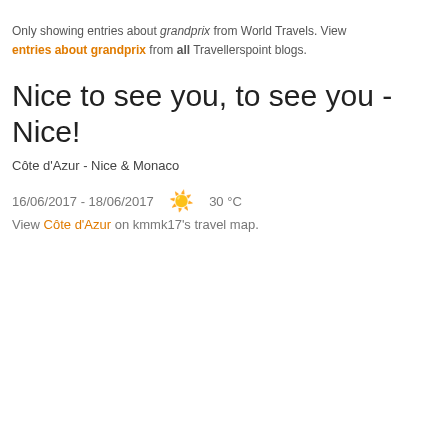Only showing entries about grandprix from World Travels. View entries about grandprix from all Travellerspoint blogs.
Nice to see you, to see you - Nice!
Côte d'Azur - Nice & Monaco
16/06/2017 - 18/06/2017   ☀  30 °C
View Côte d'Azur on kmmk17's travel map.